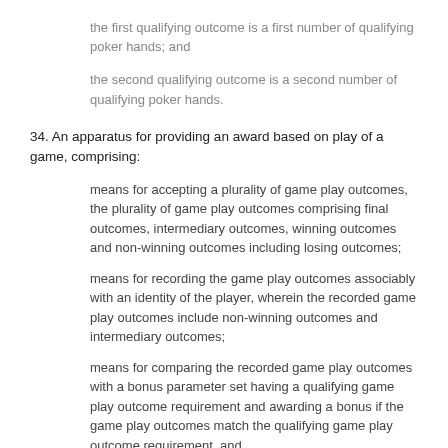the first qualifying outcome is a first number of qualifying poker hands; and
the second qualifying outcome is a second number of qualifying poker hands.
34. An apparatus for providing an award based on play of a game, comprising:
means for accepting a plurality of game play outcomes, the plurality of game play outcomes comprising final outcomes, intermediary outcomes, winning outcomes and non-winning outcomes including losing outcomes;
means for recording the game play outcomes associably with an identity of the player, wherein the recorded game play outcomes include non-winning outcomes and intermediary outcomes;
means for comparing the recorded game play outcomes with a bonus parameter set having a qualifying game play outcome requirement and awarding a bonus if the game play outcomes match the qualifying game play outcome requirement, and